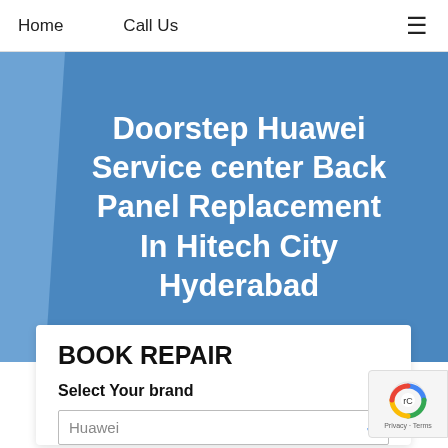Home   Call Us   ≡
Doorstep Huawei Service center Back Panel Replacement In Hitech City Hyderabad
BOOK REPAIR
Select Your brand
Huawei